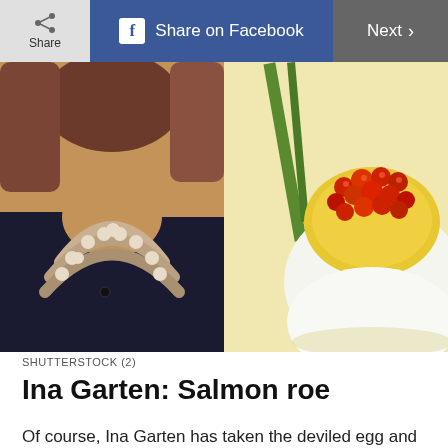Share | Share on Facebook | Next >
[Figure (photo): Two side-by-side photos: left shows a woman from neck down wearing pearl necklace and dark navy jacket; right shows a deviled egg topped with red salmon roe on a white plate with green garnish]
SHUTTERSTOCK (2)
Ina Garten: Salmon roe
Of course, Ina Garten has taken the deviled egg and elevated it to simple, elegant perfection. Her recipe mixes in cream cheese for a rich, creamy filling, as well as smoked salmon. The deviled eggs are then topped with salmon roe, a delicious type